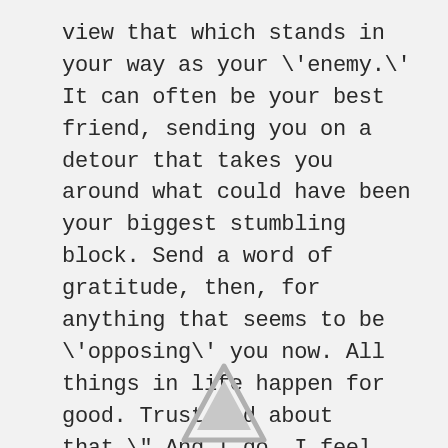view that which stands in your way as your \'enemy.\' It can often be your best friend, sending you on a detour that takes you around what could have been your biggest stumbling block. Send a word of gratitude, then, for anything that seems to be \'opposing\' you now. All things in life happen for good. Trust God about that.\" And I do. I feel blessed.
[Figure (logo): A light gray triangular arrow/logo shape pointing upward, partially visible at the bottom center of the page.]